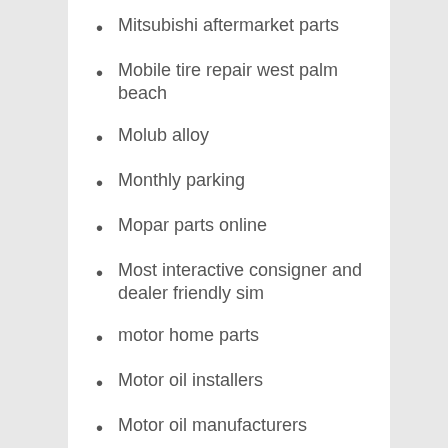Mitsubishi aftermarket parts
Mobile tire repair west palm beach
Molub alloy
Monthly parking
Mopar parts online
Most interactive consigner and dealer friendly sim
motor home parts
Motor oil installers
Motor oil manufacturers
Motor oil wholesale
Motor oils